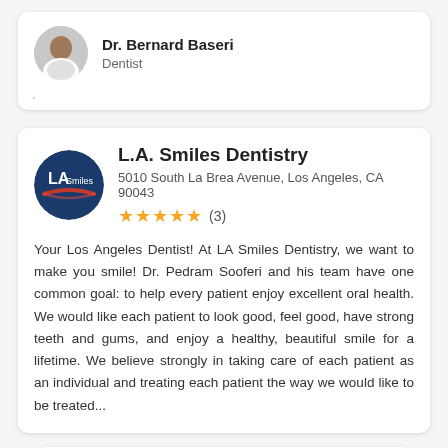[Figure (photo): Circular avatar photo of Dr. Bernard Baseri in white coat]
Dr. Bernard Baseri
Dentist
[Figure (logo): L.A. Smiles Dentistry circular dark blue logo with LA Smiles text and red swoosh]
L.A. Smiles Dentistry
5010 South La Brea Avenue, Los Angeles, CA 90043
★★★★★ (3)
Your Los Angeles Dentist! At LA Smiles Dentistry, we want to make you smile! Dr. Pedram Sooferi and his team have one common goal: to help every patient enjoy excellent oral health. We would like each patient to look good, feel good, have strong teeth and gums, and enjoy a healthy, beautiful smile for a lifetime. We believe strongly in taking care of each patient as an individual and treating each patient the way we would like to be treated...
[Figure (photo): Partial circular avatar photo of another doctor at the bottom]